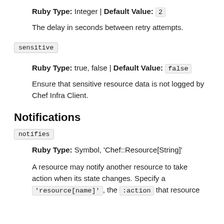Ruby Type: Integer | Default Value: 2
The delay in seconds between retry attempts.
sensitive
Ruby Type: true, false | Default Value: false
Ensure that sensitive resource data is not logged by Chef Infra Client.
Notifications
notifies
Ruby Type: Symbol, 'Chef::Resource[String]'
A resource may notify another resource to take action when its state changes. Specify a 'resource[name]', the :action that resource